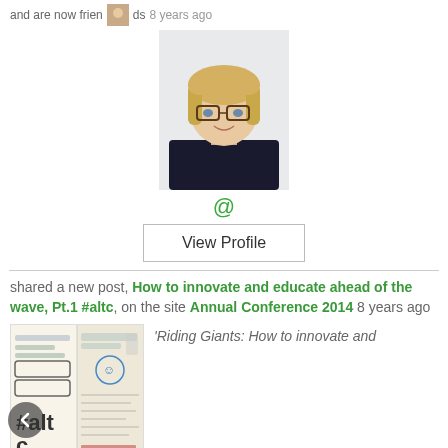and are now friends 8 years ago
[Figure (photo): Profile photo of a blonde woman with glasses wearing a dark top]
@
View Profile
shared a new post, How to innovate and educate ahead of the wave, Pt.1 #altc, on the site Annual Conference 2014 8 years ago
[Figure (photo): Sketchnote/handwritten notes with #altc written prominently]
'Riding Giants: How to innovate and educate ahead of the wave' is the title & theme for the 2014 ALT Conference – my first ALT conference.